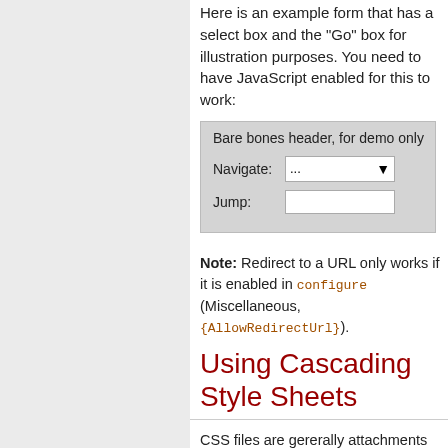Here is an example form that has a select box and the "Go" box for illustration purposes. You need to have JavaScript enabled for this to work:
[Figure (screenshot): A demo UI box with gray background showing 'Bare bones header, for demo only', a Navigate dropdown with '...' and a Jump text input field.]
Note: Redirect to a URL only works if it is enabled in configure (Miscellaneous, {AllowRedirectUrl}).
Using Cascading Style Sheets
CSS files are gererally attachments to the skin topic that are included in the the